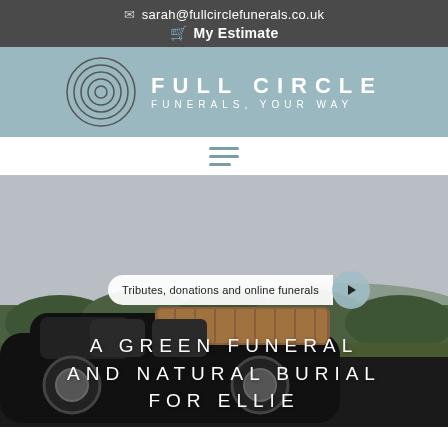sarah@fullcirclefunerals.co.uk
My Estimate
[Figure (logo): Full Circle Funerals logo — concentric circles with text FULL CIRCLE FUNERALS, YOUR WAY on a muted teal background]
[Figure (other): Hamburger menu icon with three horizontal lines in teal/grey]
[Figure (photo): Black car (hearse) carrying a wicker/wooden coffin in a green countryside landscape, used as hero image background]
Tributes, donations and online funerals
A GREEN FUNERAL AND NATURAL BURIAL FOR ELLIE